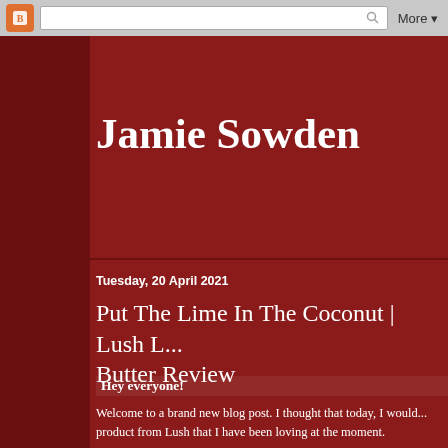Blogger nav bar with search and More button
Jamie Sowden
Tuesday, 20 April 2021
Put The Lime In The Coconut | Lush L... Butter Review
Hey everyone!
Welcome to a brand new blog post. I thought that today, I would... product from Lush that I have been loving at the moment.
Before shops were allowed to re-open, Lush released the Lime... wasn't able to get it during those times, but now that shops hav... lovely Lush White Rose store and finally got my hands on it.